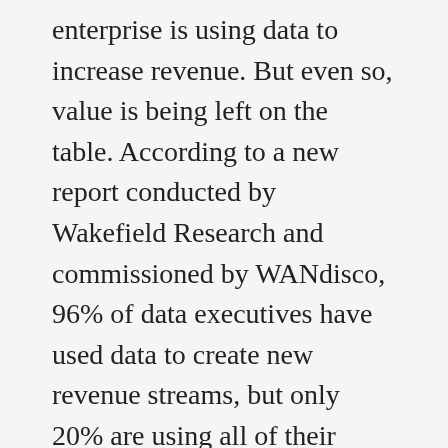enterprise is using data to increase revenue. But even so, value is being left on the table. According to a new report conducted by Wakefield Research and commissioned by WANdisco, 96% of data executives have used data to create new revenue streams, but only 20% are using all of their data; it grows too quickly for them to handle and gets trapped on premise and at the edge.
"Just bits and pieces of enterprise data are turning into tangible results. So can you imagine what would happen if every last data point was put to use? We wouldn't be talking about upticks in revenue, we'd be talking about...